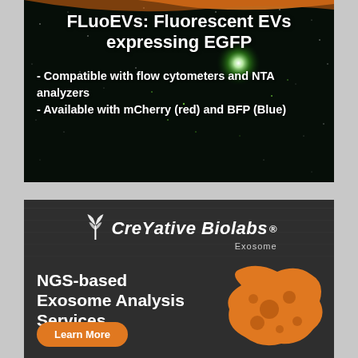[Figure (illustration): Advertisement banner with dark starfield/microscopy background showing green glowing particle, orange decorative swoosh at top. White bold text: 'FLuoEVs: Fluorescent EVs expressing EGFP' followed by bullet points about compatibility with flow cytometers and NTA analyzers, and availability with mCherry (red) and BFP (Blue).]
[Figure (illustration): Creative Biolabs Exosome advertisement on dark charcoal background. Shows Creative Biolabs logo with stylized plant/leaf icon, 'NGS-based Exosome Analysis Services' in bold white text, orange blob shape with darker orange circles, and an orange 'Learn More' button.]